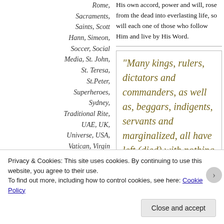Rome, Sacraments, Saints, Scott Hann, Simeon, Soccer, Social Media, St. John, St. Teresa, St.Peter, Superheroes, Sydney, Traditional Rite, UAE, UK, Universe, USA, Vatican, Virgin Mary, Wings,
His own accord, power and will, rose from the dead into everlasting life, so will each one of those who follow Him and live by His Word.
“Many kings, rulers, dictators and commanders, as well as, beggars, indigents, servants and marginalized, all have left (died) with nothing from this world to be carried in to the other world. But those who lose themselves for the cause of Christ Jesus Christ
Privacy & Cookies: This site uses cookies. By continuing to use this website, you agree to their use.
To find out more, including how to control cookies, see here: Cookie Policy
Close and accept